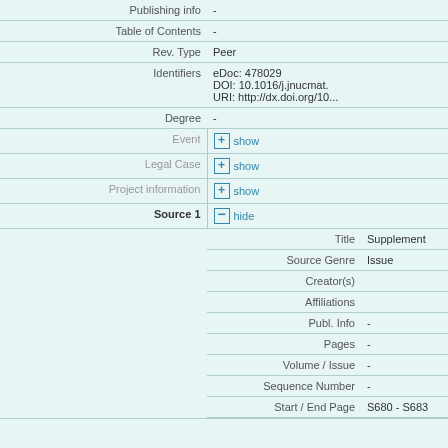| Field | Value |
| --- | --- |
| Publishing info | - |
| Table of Contents | - |
| Rev. Type | Peer |
| Identifiers | eDoc: 478029
DOI: 10.1016/j.jnucmat.
URI: http://dx.doi.org/10... |
| Degree | - |
| Event | [+] show |
| Legal Case | [+] show |
| Project information | [+] show |
| Source 1 | [-] hide |
| Title | Supplement |
| Source Genre | Issue |
| Creator(s) |  |
| Affiliations |  |
| Publ. Info | - |
| Pages | - |
| Volume / Issue | - |
| Sequence Number | - |
| Start / End Page | S680 - S683 |